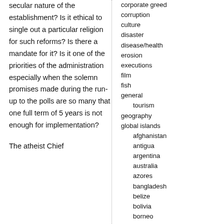secular nature of the establishment? Is it ethical to single out a particular religion for such reforms? Is there a mandate for it? Is it one of the priorities of the administration especially when the solemn promises made during the run-up to the polls are so many that one full term of 5 years is not enough for implementation?
The atheist Chief
corporate greed
corruption
culture
disaster
disease/health
erosion
executions
film
fish
general
tourism
geography
global islands
afghanistan
antigua
argentina
australia
azores
bangladesh
belize
bolivia
borneo
brazil
burma
canada
canary islands
cape verde
caribbean
cascadia
chile
china
cnmi
columbia